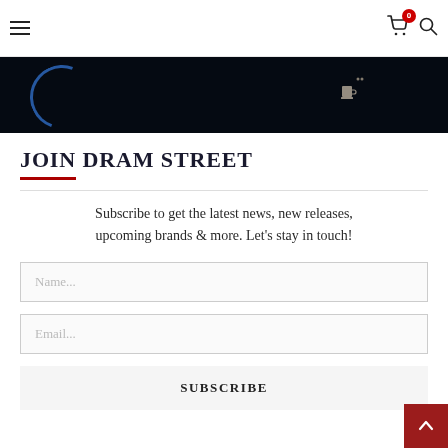Navigation bar with hamburger menu, cart icon (0 items), and search icon
[Figure (screenshot): Dark hero banner strip showing a partial circular blue glow on the left and a small cup/trophy icon on the right, against a near-black background]
JOIN DRAM STREET
Subscribe to get the latest news, new releases, upcoming brands & more. Let's stay in touch!
Name...
Email...
SUBSCRIBE